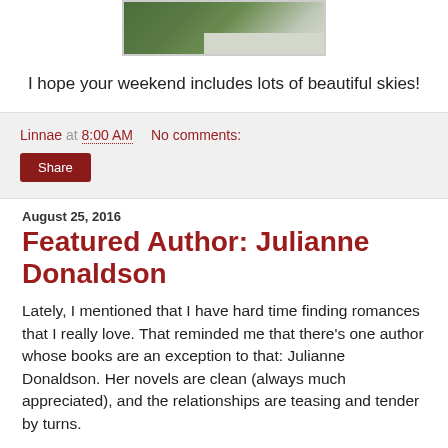[Figure (photo): Partial photo of a house and trees, cropped at top]
I hope your weekend includes lots of beautiful skies!
Linnae at 8:00 AM    No comments:
Share
August 25, 2016
Featured Author: Julianne Donaldson
Lately, I mentioned that I have hard time finding romances that I really love. That reminded me that there's one author whose books are an exception to that: Julianne Donaldson. Her novels are clean (always much appreciated), and the relationships are teasing and tender by turns.
She is a BYU alumna, just like me (woo hoo!) (Go Cougars!) Also, she has 5 kids! I have all kinds of respect for her